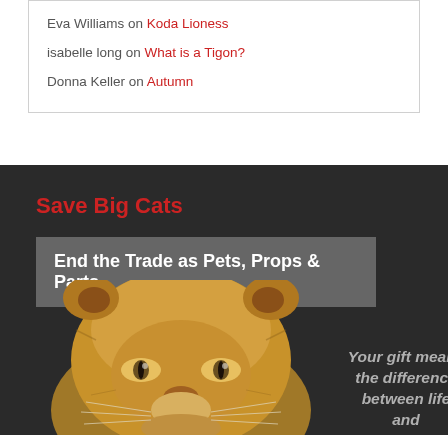Eva Williams on Koda Lioness
isabelle long on What is a Tigon?
Donna Keller on Autumn
Save Big Cats
End the Trade as Pets, Props & Parts
[Figure (photo): Close-up of a lioness face looking forward, on dark background]
Your gift means the difference between life and